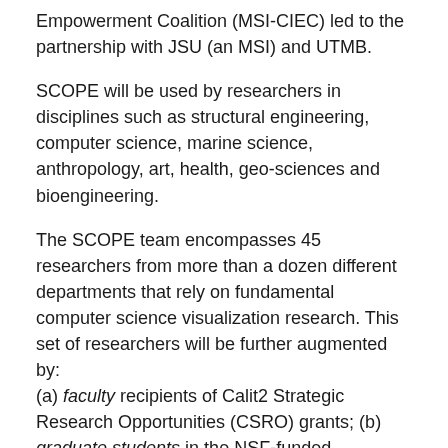Empowerment Coalition (MSI-CIEC) led to the partnership with JSU (an MSI) and UTMB.
SCOPE will be used by researchers in disciplines such as structural engineering, computer science, marine science, anthropology, art, health, geo-sciences and bioengineering.
The SCOPE team encompasses 45 researchers from more than a dozen different departments that rely on fundamental computer science visualization research. This set of researchers will be further augmented by: (a) faculty recipients of Calit2 Strategic Research Opportunities (CSRO) grants; (b) graduate students in the NSF-funded Integrative Graduate Education and Research Traineeship (IGERT-TEECH) program for cultural heritage diagnostics and preservation; and (c) undergraduate researchers supported by Research Experiences for Undergraduates (REU) supplements.